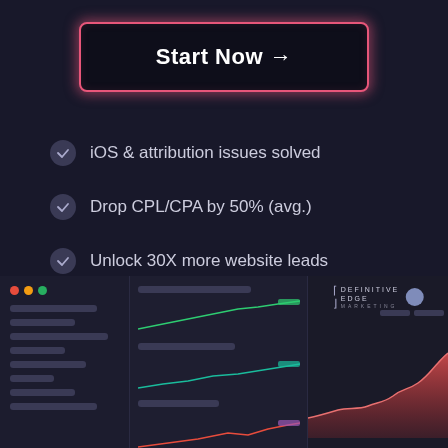[Figure (other): Start Now button with pink/red glowing neon border on dark background]
iOS & attribution issues solved
Drop CPL/CPA by 50% (avg.)
Unlock 30X more website leads
[Figure (screenshot): Dashboard UI mockup with three panels: left panel with traffic light dots and horizontal bars, middle panel with three small line charts (green rising, teal rising, red/pink rising), right panel showing Definitive Edge Marketing logo and an orange/red area chart trending upward]